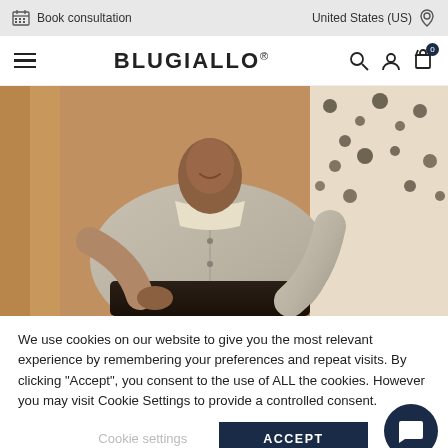Book consultation | United States (US)
BLUGIALLO®
[Figure (photo): Fashion photo of a smiling man wearing a light grey overshirt/jacket, seated outdoors with warm ambient lighting. A woman in leopard print is partially visible behind him.]
We use cookies on our website to give you the most relevant experience by remembering your preferences and repeat visits. By clicking "Accept", you consent to the use of ALL the cookies. However you may visit Cookie Settings to provide a controlled consent.
Cookie settings | ACCEPT